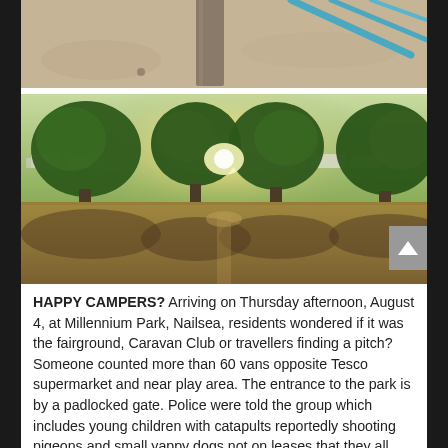[Figure (photo): Close-up photo of sandy playground ground with a pole and blue equipment frame visible at the top]
[Figure (photo): Outdoor park scene with rows of trees, dry grass, warm golden light in late afternoon, caravans/vans visible in background]
HAPPY CAMPERS? Arriving on Thursday afternoon, August 4, at Millennium Park, Nailsea, residents wondered if it was the fairground, Caravan Club or travellers finding a pitch? Someone counted more than 60 vans opposite Tesco supermarket and near play area. The entrance to the park is by a padlocked gate. Police were told the group which includes young children with catapults reportedly shooting pigeons and small yappy dogs not on leases that they all intend to move on Sunday.